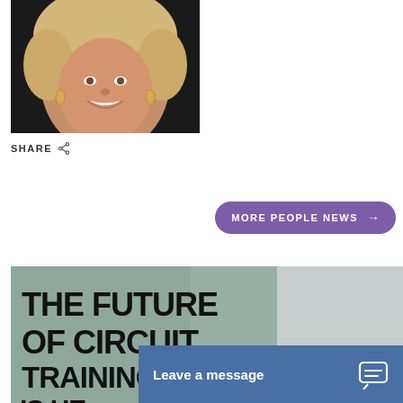[Figure (photo): Portrait photo of a smiling blonde woman with curly hair, wearing hoop earrings, against a dark background.]
SHARE
MORE PEOPLE NEWS →
[Figure (photo): Promotional image with sage green/teal background showing large bold text reading: THE FUTURE OF CIRCUIT TRAINING IS HE[RE], with a blurred background element on the right.]
Leave a message